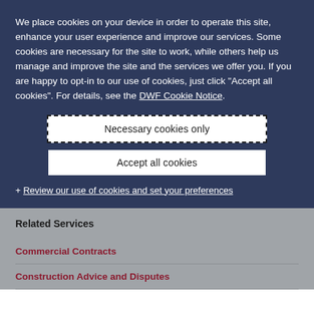We place cookies on your device in order to operate this site, enhance your user experience and improve our services. Some cookies are necessary for the site to work, while others help us manage and improve the site and the services we offer you. If you are happy to opt-in to our use of cookies, just click "Accept all cookies". For details, see the DWF Cookie Notice.
Necessary cookies only
Accept all cookies
+ Review our use of cookies and set your preferences
Related Services
Commercial Contracts
Construction Advice and Disputes